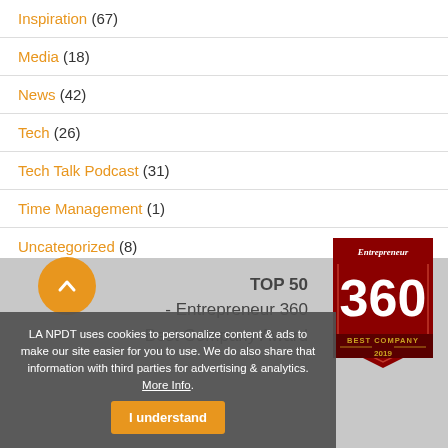Inspiration (67)
Media (18)
News (42)
Tech (26)
Tech Talk Podcast (31)
Time Management (1)
Uncategorized (8)
Words (15)
[Figure (logo): Entrepreneur 360 Best Company 2019 badge/logo in red and black with large '360' numeral]
TOP 50 - Entrepreneur 360 Best Company Award
LA NPDT uses cookies to personalize content & ads to make our site easier for you to use. We do also share that information with third parties for advertising & analytics. More Info.
I understand